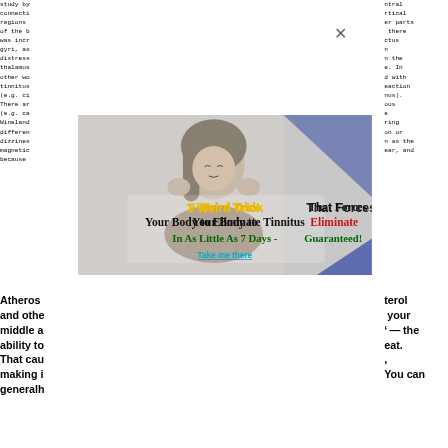study by ntral connecti rtical regions er parts of the b there was incr ctus gyri, as n distress n the thalamus e. In other wo d with tinnitus eaction (e.g. ci nus). There ar ous (e.g. ca e Wineland ring differen on or dizzines n as the magnetic ear, and because
[Figure (photo): Advertisement overlay showing a woman covering her ears with text: '1 Weird Trick That Forces Your Body to Eliminate Tinnitus In As Little As 7 Days - Guaranteed!' with a close button (X) and a 'Take me there' link]
Atherosclerosis and other terol your middle a — the ability to eat. That cau , making i You can generally